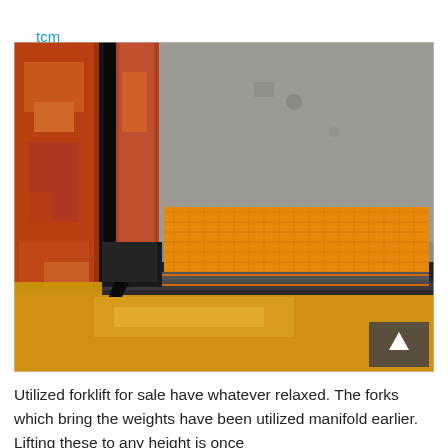tcm forklift parts
[Figure (photo): Close-up photograph of a forklift fork assembly showing orange/yellow load backrest or pad resting on a metal shelf bracket, with rust-colored vertical mast channel on the left side. A dark scroll-up arrow icon is visible in the bottom-right corner of the image.]
Utilized forklift for sale have whatever relaxed. The forks which bring the weights have been utilized manifold earlier. Lifting these to any height is once